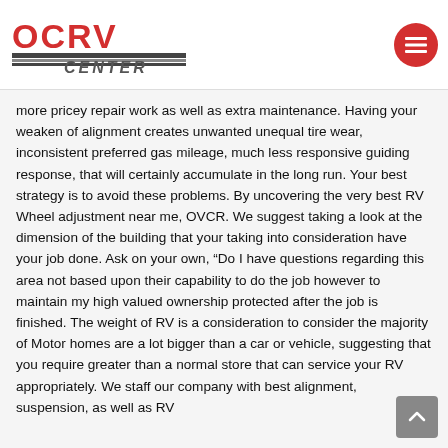OCRV CENTER
more pricey repair work as well as extra maintenance. Having your weaken of alignment creates unwanted unequal tire wear, inconsistent preferred gas mileage, much less responsive guiding response, that will certainly accumulate in the long run. Your best strategy is to avoid these problems. By uncovering the very best RV Wheel adjustment near me, OVCR. We suggest taking a look at the dimension of the building that your taking into consideration have your job done. Ask on your own, “Do I have questions regarding this area not based upon their capability to do the job however to maintain my high valued ownership protected after the job is finished. The weight of RV is a consideration to consider the majority of Motor homes are a lot bigger than a car or vehicle, suggesting that you require greater than a normal store that can service your RV appropriately. We staff our company with best alignment, suspension, as well as RV